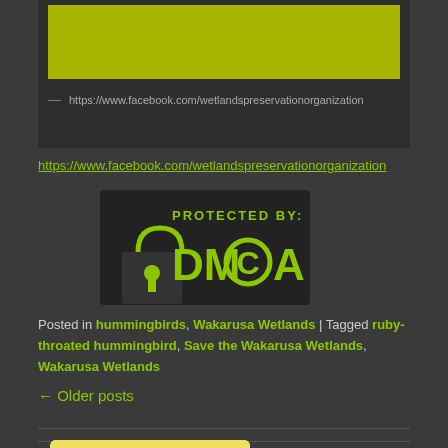[Figure (screenshot): Dark card with yellow/olive image area at top and Facebook URL below]
https://www.facebook.com/wetlandspreservationorganization
[Figure (logo): DMCA Protected By badge with padlock icon and DMCA logo in green and dark colors]
Posted in hummingbirds, Wakarusa Wetlands | Tagged ruby-throated hummingbird, Save the Wakarusa Wetlands, Wakarusa Wetlands
← Older posts
[Figure (logo): Secured by positiveSSL badge with padlock icon in yellow/gold background]